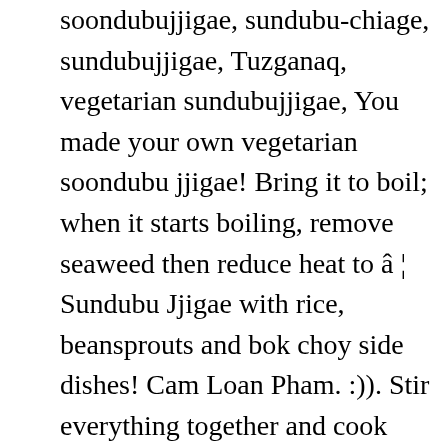soondubujjigae, sundubu-chiage, sundubujjigae, Tuzganaq, vegetarian sundubujjigae, You made your own vegetarian soondubu jjigae! Bring it to boil; when it starts boiling, remove seaweed then reduce heat to â ¦ Sundubu Jjigae with rice, beansprouts and bok choy side dishes! Cam Loan Pham. :)). Stir everything together and cook until kimchi is soften, about 3 minutes. We never make this with fresh tuna, we make it with canned tuna. Youâ  ll find lots of variation in flavor among different batches and brands of kimchi. Sautee until soft then add the kimchi. Especially here in Sweden during January! This recipe was originally posted on June 19, 2019 The dish I made was a very loose merging of Maangchi's kimchi soup